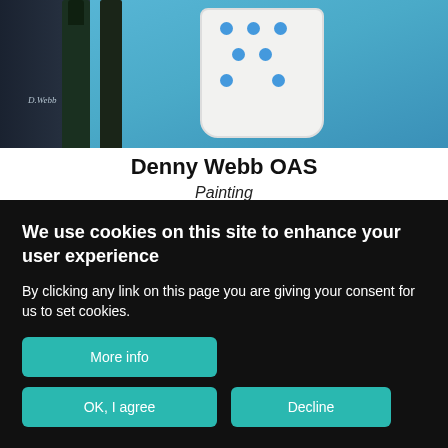[Figure (photo): A painting showing dark green bottles and a white polka-dot jug against a blue background, cropped at top.]
Denny Webb OAS
Painting
[Figure (photo): A painting with pink and light blue washes, partially visible, cropped at bottom by cookie consent overlay.]
We use cookies on this site to enhance your user experience
By clicking any link on this page you are giving your consent for us to set cookies.
More info
OK, I agree
Decline